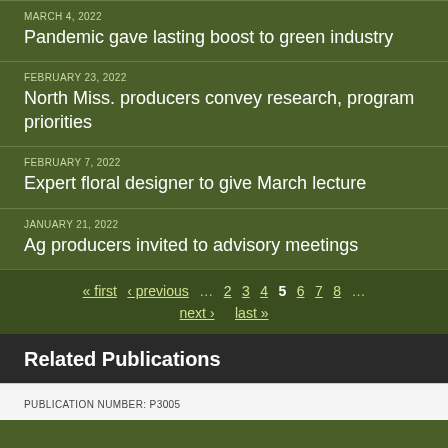MARCH 4, 2022
Pandemic gave lasting boost to green industry
FEBRUARY 23, 2022
North Miss. producers convey research, program priorities
FEBRUARY 7, 2022
Expert floral designer to give March lecture
JANUARY 21, 2022
Ag producers invited to advisory meetings
« first ‹ previous … 2 3 4 5 6 7 8 … next › last »
Related Publications
PUBLICATION NUMBER: P3005